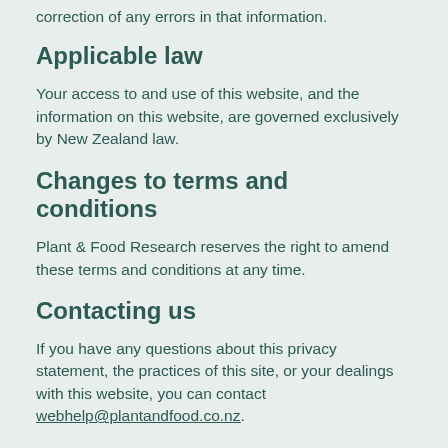correction of any errors in that information.
Applicable law
Your access to and use of this website, and the information on this website, are governed exclusively by New Zealand law.
Changes to terms and conditions
Plant & Food Research reserves the right to amend these terms and conditions at any time.
Contacting us
If you have any questions about this privacy statement, the practices of this site, or your dealings with this website, you can contact webhelp@plantandfood.co.nz.